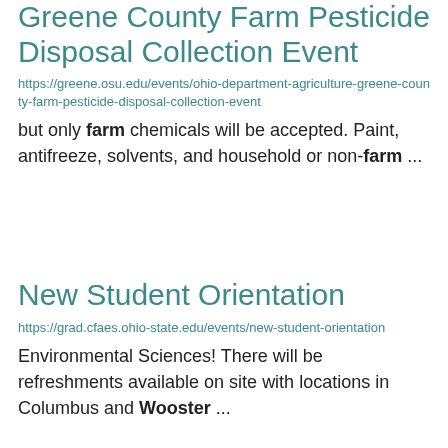Greene County Farm Pesticide Disposal Collection Event
https://greene.osu.edu/events/ohio-department-agriculture-greene-county-farm-pesticide-disposal-collection-event
but only farm chemicals will be accepted. Paint, antifreeze, solvents, and household or non-farm ...
New Student Orientation
https://grad.cfaes.ohio-state.edu/events/new-student-orientation
Environmental Sciences! There will be refreshments available on site with locations in Columbus and Wooster ...